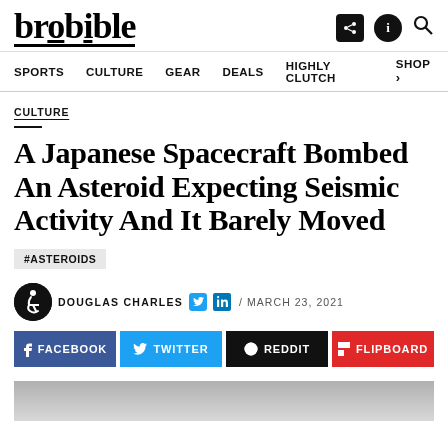brobible
SPORTS  CULTURE  GEAR  DEALS  HIGHLY CLUTCH  SHOP
CULTURE
A Japanese Spacecraft Bombed An Asteroid Expecting Seismic Activity And It Barely Moved
#ASTEROIDS
DOUGLAS CHARLES / MARCH 23, 2021
f FACEBOOK  TWITTER  REDDIT  FLIPBOARD
[Figure (photo): Gray/silver toned image strip at bottom of article page]